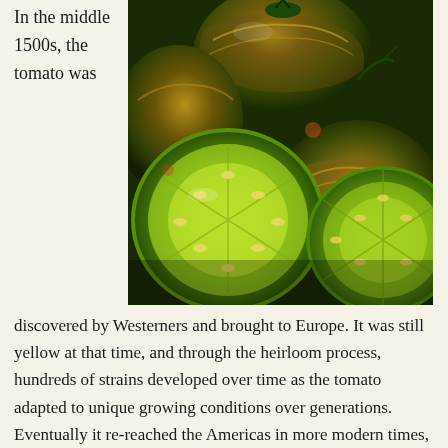In the middle 1500s, the tomato was
[Figure (photo): Close-up photograph of green and orange striped heirloom tomatoes, some whole and one sliced in half showing the green interior with seeds.]
discovered by Westerners and brought to Europe. It was still yellow at that time, and through the heirloom process, hundreds of strains developed over time as the tomato adapted to unique growing conditions over generations. Eventually it re-reached the Americas in more modern times, and in 500 short years, we have thousands of varieties of what once was a poisonous plant that only grew in the Andes mountains.